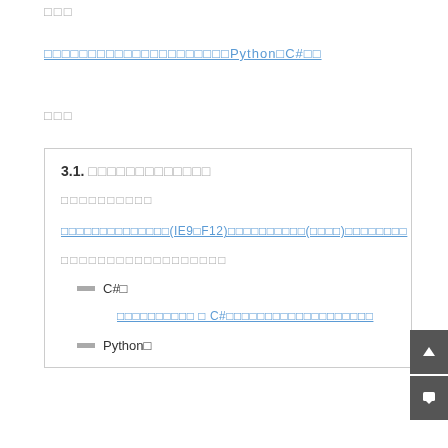□□□
□□□□□□□□□□□□□□□□□□□□□Python□C#□□
□□□
3.1. □□□□□□□□□□□□□
□□□□□□□□□□
□□□□□□□□□□□□□□(IE9□F12)□□□□□□□□□□(□□□□)□□□□□□□□
□□□□□□□□□□□□□□□□□□
C#□
□□□□□□□□□□ □ C#□□□□□□□□□□□□□□□□□□□
Python□